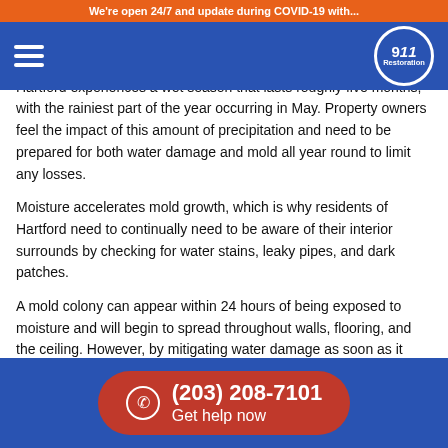We're open 24/7 and update during COVID-19 with...
[Figure (logo): 911 Restoration logo in white circle on blue nav bar]
Water Mitigation Can Prevent Mold Infestations
Hartford experiences a wet season that lasts roughly five months, with the rainiest part of the year occurring in May. Property owners feel the impact of this amount of precipitation and need to be prepared for both water damage and mold all year round to limit any losses.
Moisture accelerates mold growth, which is why residents of Hartford need to continually need to be aware of their interior surrounds by checking for water stains, leaky pipes, and dark patches.
A mold colony can appear within 24 hours of being exposed to moisture and will begin to spread throughout walls, flooring, and the ceiling. However, by mitigating water damage as soon as it appears,
(203) 208-7101 Get help now